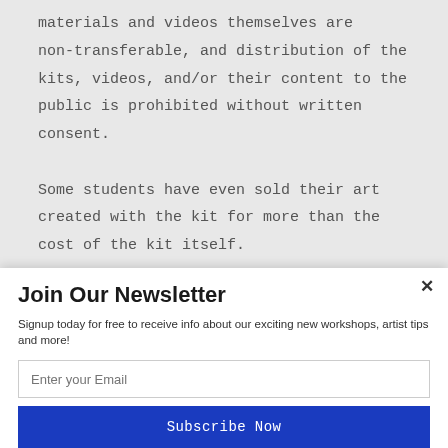materials and videos themselves are non-transferable, and distribution of the kits, videos, and/or their content to the public is prohibited without written consent.

Some students have even sold their art created with the kit for more than the cost of the kit itself.
Join Our Newsletter
Signup today for free to receive info about our exciting new workshops, artist tips and more!